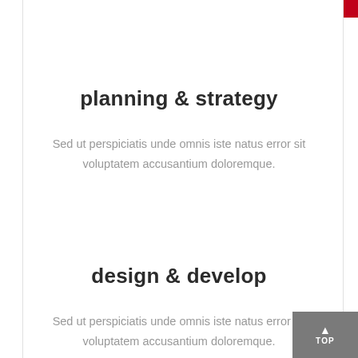planning & strategy
Sed ut perspiciatis unde omnis iste natus error sit voluptatem accusantium doloremque.
design & develop
Sed ut perspiciatis unde omnis iste natus error sit voluptatem accusantium doloremque.